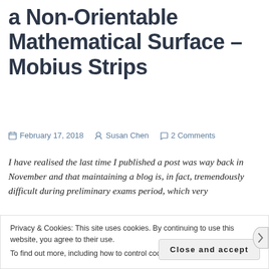Recent Fascination with a Non-Orientable Mathematical Surface – Mobius Strips
February 17, 2018   Susan Chen   2 Comments
I have realised the last time I published a post was way back in November and that maintaining a blog is, in fact, tremendously difficult during preliminary exams period, which very
Privacy & Cookies: This site uses cookies. By continuing to use this website, you agree to their use.
To find out more, including how to control cookies, see here: Cookie Policy
Close and accept